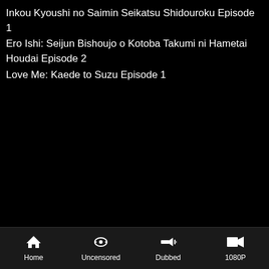Inkou Kyoushi no Saimin Seikatsu Shidouroku Episode 1
Ero Ishi: Seijun Bishoujo o Kotoba Takumi ni Hametai Houdai Episode 2
Love Me: Kaede to Suzu Episode 1
Home | Uncensored | Dubbed | 1080P